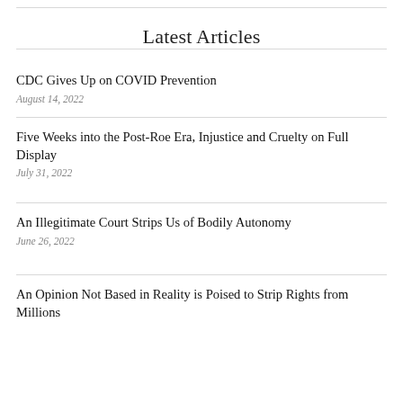Latest Articles
CDC Gives Up on COVID Prevention
August 14, 2022
Five Weeks into the Post-Roe Era, Injustice and Cruelty on Full Display
July 31, 2022
An Illegitimate Court Strips Us of Bodily Autonomy
June 26, 2022
An Opinion Not Based in Reality is Poised to Strip Rights from Millions